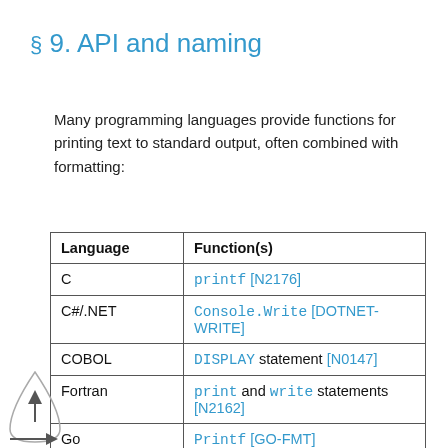§ 9. API and naming
Many programming languages provide functions for printing text to standard output, often combined with formatting:
| Language | Function(s) |
| --- | --- |
| C | printf [N2176] |
| C#/.NET | Console.Write [DOTNET-WRITE] |
| COBOL | DISPLAY statement [N0147] |
| Fortran | print and write statements [N2162] |
| Go | Printf [GO-FMT] |
| Java | PrintStream.format, PrintStream.print, PrintStream.printf [JAVA-PRINT] |